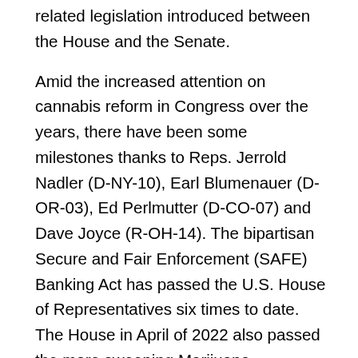related legislation introduced between the House and the Senate.
Amid the increased attention on cannabis reform in Congress over the years, there have been some milestones thanks to Reps. Jerrold Nadler (D-NY-10), Earl Blumenauer (D-OR-03), Ed Perlmutter (D-CO-07) and Dave Joyce (R-OH-14). The bipartisan Secure and Fair Enforcement (SAFE) Banking Act has passed the U.S. House of Representatives six times to date. The House in April of 2022 also passed the more sweeping Marijuana Opportunity Reinvestment and Expungement (MORE) Act, as it did in the last session of Congress. Similar to a previous draft of